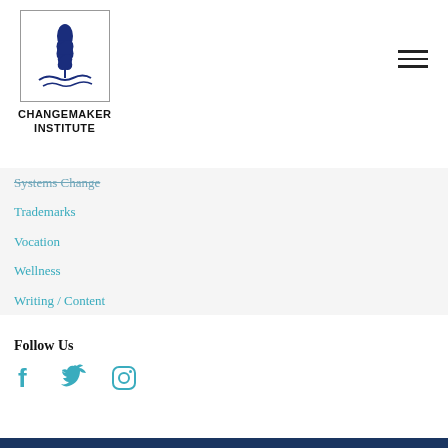[Figure (logo): Changemaker Institute logo: dark navy blue wheat/leaf plant icon above wavy water lines, inside a square border. Below reads CHANGEMAKER INSTITUTE in bold sans-serif.]
Systems Change (partially visible, strikethrough)
Trademarks
Vocation
Wellness
Writing / Content
Follow Us
[Figure (illustration): Three social media icons in teal: Facebook (f), Twitter (bird), Instagram (camera outline)]